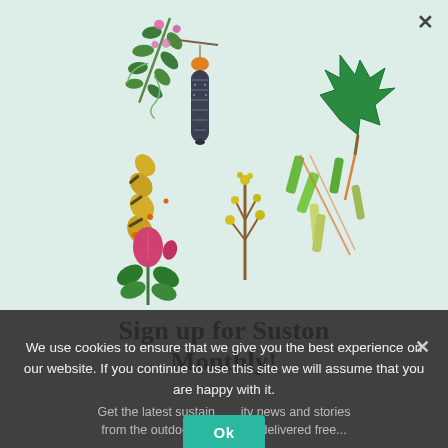[Figure (illustration): Botanical and nature illustration on light teal/mint background showing a caterpillar, a chrysalis/pupa hanging from a branch with pink wildflowers and compound leaves, a green maple leaf, a yellow-green caterpillar, small yellow flowers on a brown stem, green reed/stem segments scattered, and a pink clover flower with dark green leaves.]
Sign up for Suston Monthly!
Get the latest sustainability news and stories from the outdoor community delivered free...
We use cookies to ensure that we give you the best experience on our website. If you continue to use this site we will assume that you are happy with it.